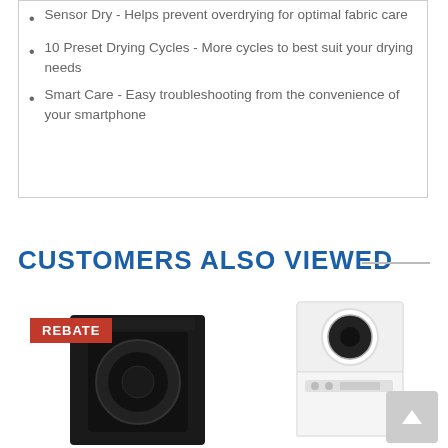Sensor Dry - Helps prevent overdrying for optimal fabric care
10 Preset Drying Cycles - More cycles to best suit your drying needs
Smart Care - Easy troubleshooting from the convenience of your smartphone
CUSTOMERS ALSO VIEWED
[Figure (photo): Black front-load dryer with REBATE badge]
[Figure (photo): White stacked washer-dryer unit]